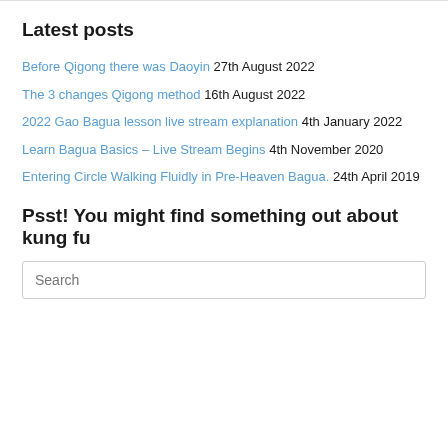Latest posts
Before Qigong there was Daoyin 27th August 2022
The 3 changes Qigong method 16th August 2022
2022 Gao Bagua lesson live stream explanation 4th January 2022
Learn Bagua Basics – Live Stream Begins 4th November 2020
Entering Circle Walking Fluidly in Pre-Heaven Bagua. 24th April 2019
Psst! You might find something out about kung fu
Search